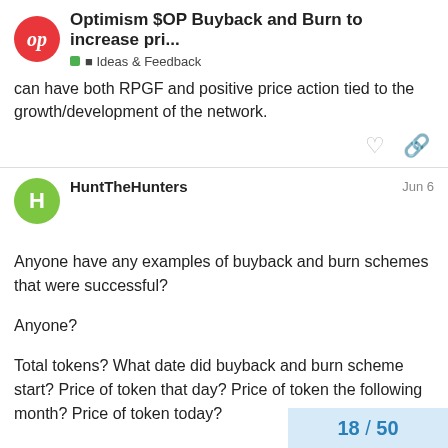Optimism $OP Buyback and Burn to increase pri... | Ideas & Feedback
can have both RPGF and positive price action tied to the growth/development of the network.
HuntTheHunters  Jun 6
Anyone have any examples of buyback and burn schemes that were successful?

Anyone?

Total tokens? What date did buyback and burn scheme start? Price of token that day? Price of token the following month? Price of token today?
18 / 50